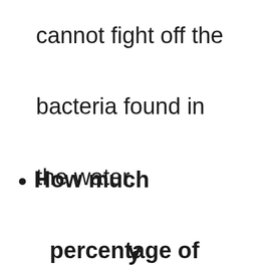cannot fight off the bacteria found in the water.
How much percentage of
y